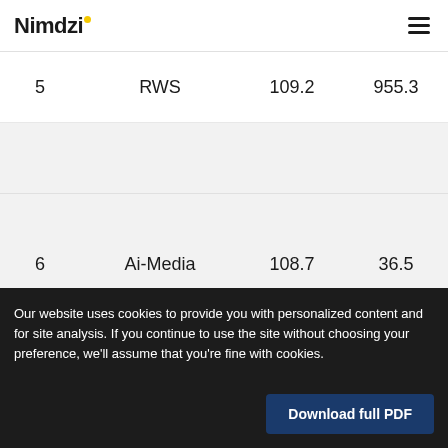Nimdzi
| 5 | RWS | 109.2 | 955.3 |
| 6 | Ai-Media | 108.7 | 36.5 |
Our website uses cookies to provide you with personalized content and for site analysis. If you continue to use the site without choosing your preference, we'll assume that you're fine with cookies.
Download full PDF